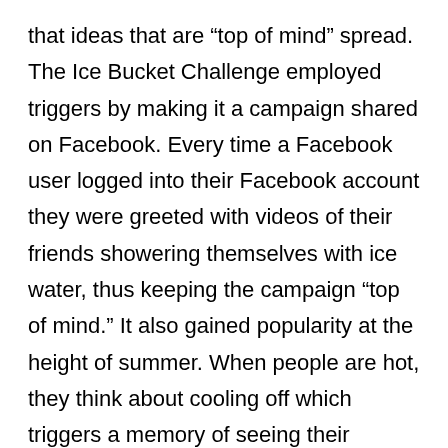that ideas that are “top of mind” spread. The Ice Bucket Challenge employed triggers by making it a campaign shared on Facebook. Every time a Facebook user logged into their Facebook account they were greeted with videos of their friends showering themselves with ice water, thus keeping the campaign “top of mind.” It also gained popularity at the height of summer. When people are hot, they think about cooling off which triggers a memory of seeing their friends drenched in cold water. Emotion was also at play. Berger states: “Emotion is one factor that drives sharing. We see lots of funny stuff go viral on YouTube, but we also see angry political